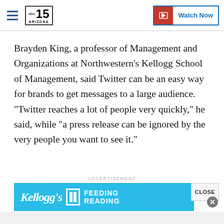abc15 ARIZONA — Watch Now
Brayden King, a professor of Management and Organizations at Northwestern's Kellogg School of Management, said Twitter can be an easy way for brands to get messages to a large audience. "Twitter reaches a lot of people very quickly," he said, while "a press release can be ignored by the very people you want to see it."
ADVERTISEMENT
[Figure (other): Kellogg's Feeding Reading advertisement banner in cyan/blue color]